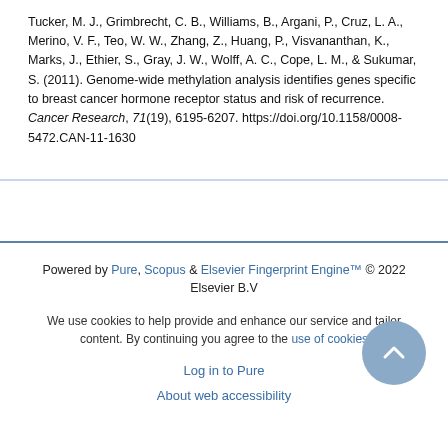Tucker, M. J., Grimbrecht, C. B., Williams, B., Argani, P., Cruz, L. A., Merino, V. F., Teo, W. W., Zhang, Z., Huang, P., Visvananthan, K., Marks, J., Ethier, S., Gray, J. W., Wolff, A. C., Cope, L. M., & Sukumar, S. (2011). Genome-wide methylation analysis identifies genes specific to breast cancer hormone receptor status and risk of recurrence. Cancer Research, 71(19), 6195-6207. https://doi.org/10.1158/0008-5472.CAN-11-1630
Powered by Pure, Scopus & Elsevier Fingerprint Engine™ © 2022 Elsevier B.V
We use cookies to help provide and enhance our service and tailor content. By continuing you agree to the use of cookies
Log in to Pure
About web accessibility